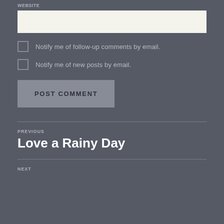WEBSITE
[Figure (other): Empty website text input field with light cream background]
Notify me of follow-up comments by email.
Notify me of new posts by email.
POST COMMENT
PREVIOUS
Love a Rainy Day
NEXT